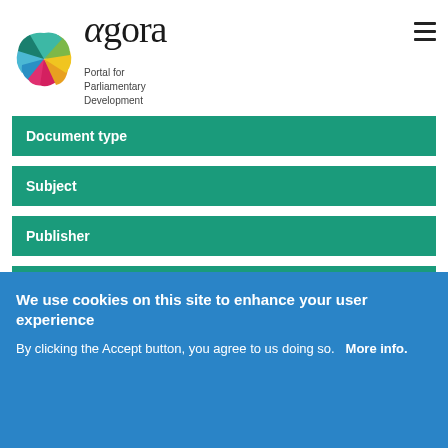[Figure (logo): Agora - Portal for Parliamentary Development logo with colorful pinwheel and text]
Document type
Subject
Publisher
Editor
Search
We use cookies on this site to enhance your user experience
By clicking the Accept button, you agree to us doing so.   More info.